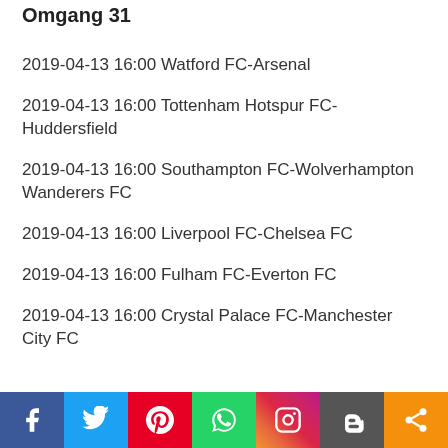Omgang 31
2019-04-13 16:00 Watford FC-Arsenal
2019-04-13 16:00 Tottenham Hotspur FC-Huddersfield
2019-04-13 16:00 Southampton FC-Wolverhampton Wanderers FC
2019-04-13 16:00 Liverpool FC-Chelsea FC
2019-04-13 16:00 Fulham FC-Everton FC
2019-04-13 16:00 Crystal Palace FC-Manchester City FC